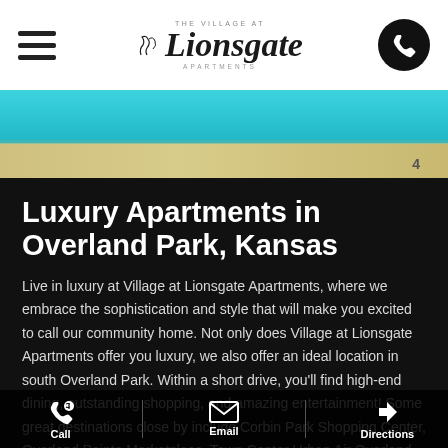The Village at Lionsgate Apartments — navigation header with hamburger menu and phone button
[Figure (photo): Swimming pool with turquoise water and beige pool deck edge, viewed from above at an angle]
Luxury Apartments in Overland Park, Kansas
Live in luxury at Village at Lionsgate Apartments, where we embrace the sophistication and style that will make you excited to call our community home. Not only does Village at Lionsgate Apartments offer you luxury, we also offer an ideal location in south Overland Park. Within a short drive, you'll find high-end dining, outstanding shopping, and amazing entertainment! Some great destinations close by include Corbin Park Shopping Center, Overland Pointe Marketplace, Town Center Urban Air Overland Park, and B&B Theatres Overland 16. We are situated he
Call | Email | Directions